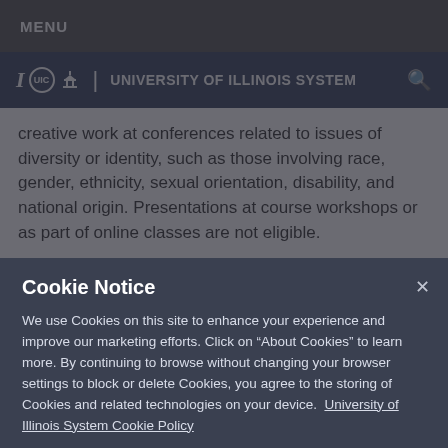MENU
University of Illinois System
creative work at conferences related to issues of diversity or identity, such as those involving race, gender, ethnicity, sexual orientation, disability, and national origin. Presentations at course workshops or as part of online classes are not eligible.
3. Should multiple presentations at the same conference by a single student be a single or multiple applications?
Cookie Notice
We use Cookies on this site to enhance your experience and improve our marketing efforts. Click on “About Cookies” to learn more. By continuing to browse without changing your browser settings to block or delete Cookies, you agree to the storing of Cookies and related technologies on your device. University of Illinois System Cookie Policy